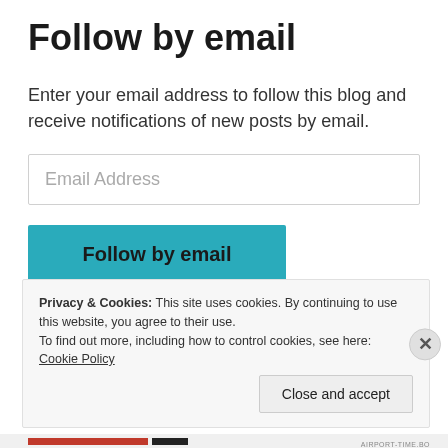Follow by email
Enter your email address to follow this blog and receive notifications of new posts by email.
[Figure (screenshot): Email Address input field with placeholder text 'Email Address', bordered text input box]
[Figure (screenshot): Teal/cyan button labeled 'Follow by email']
Privacy & Cookies: This site uses cookies. By continuing to use this website, you agree to their use.
To find out more, including how to control cookies, see here: Cookie Policy
Close and accept